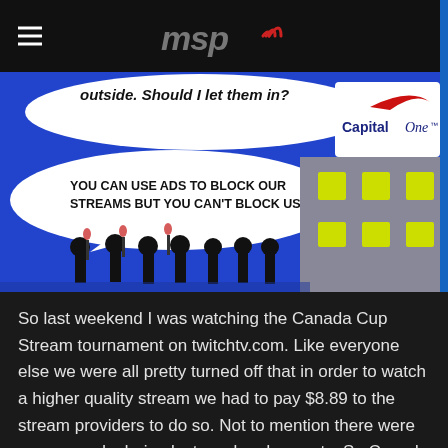MSP (logo with signal icon)
[Figure (illustration): Comic illustration on dark blue background. Top speech bubble reads 'outside. Should I let them in?' with Capital One logo in upper right. Lower speech bubble reads 'YOU CAN USE ADS TO BLOCK OUR STREAMS BUT YOU CAN'T BLOCK US!' with silhouetted figures holding torches in front of a gray building with yellow-green windows.]
So last weekend I was watching the Canada Cup Stream tournament on twitchtv.com. Like everyone else we were all pretty turned off that in order to watch a higher quality stream we had to pay $8.89 to the stream providers to do so. Not to mention there were so many ads during last weekends events. So Canada Cup fighting tournament